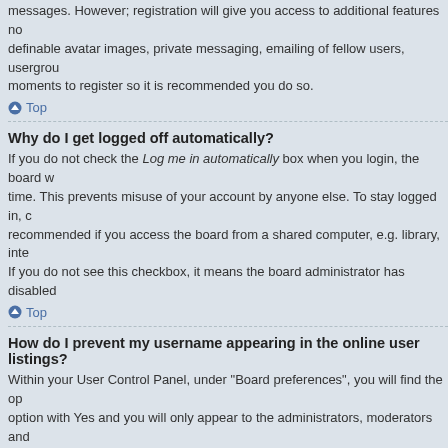messages. However; registration will give you access to additional features not definable avatar images, private messaging, emailing of fellow users, usergroup moments to register so it is recommended you do so.
Top
Why do I get logged off automatically?
If you do not check the Log me in automatically box when you login, the board will time. This prevents misuse of your account by anyone else. To stay logged in, c recommended if you access the board from a shared computer, e.g. library, inte If you do not see this checkbox, it means the board administrator has disabled
Top
How do I prevent my username appearing in the online user listings?
Within your User Control Panel, under "Board preferences", you will find the op option with Yes and you will only appear to the administrators, moderators and hidden user.
Top
I've lost my password!
Don't panic! While your password cannot be retrieved, it can easily be reset. Vi forgotten my password. Follow the instructions and you should be able to log in
Top
I registered but cannot login!
First, check your username and password. If they are correct, then one of two t